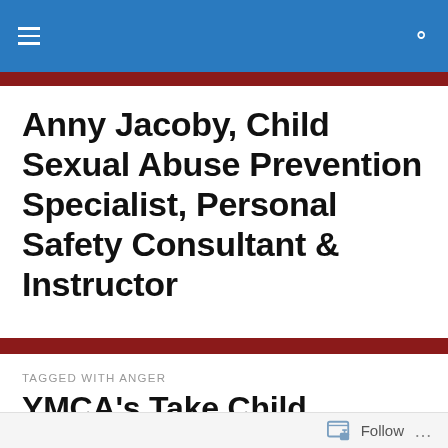Anny Jacoby, Child Sexual Abuse Prevention Specialist, Personal Safety Consultant & Instructor
Anny Jacoby, Child Sexual Abuse Prevention Specialist, Personal Safety Consultant & Instructor
TAGGED WITH ANGER
YMCA's Take Child Protection Very Seriously
Follow